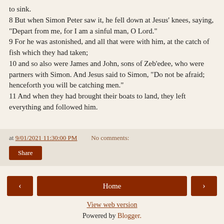to sink. 8 But when Simon Peter saw it, he fell down at Jesus' knees, saying, "Depart from me, for I am a sinful man, O Lord." 9 For he was astonished, and all that were with him, at the catch of fish which they had taken; 10 and so also were James and John, sons of Zeb'edee, who were partners with Simon. And Jesus said to Simon, "Do not be afraid; henceforth you will be catching men." 11 And when they had brought their boats to land, they left everything and followed him.
at 9/01/2021 11:30:00 PM   No comments:
Share
‹
Home
›
View web version
Powered by Blogger.